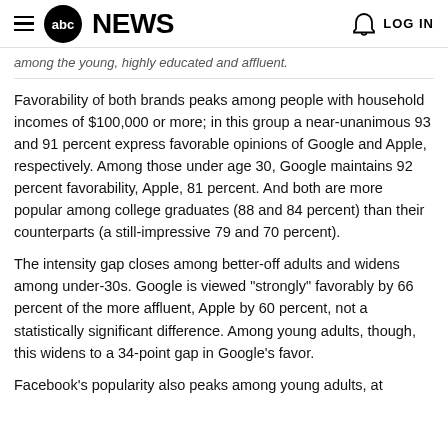abc NEWS | LOG IN
among the young, highly educated and affluent.
Favorability of both brands peaks among people with household incomes of $100,000 or more; in this group a near-unanimous 93 and 91 percent express favorable opinions of Google and Apple, respectively. Among those under age 30, Google maintains 92 percent favorability, Apple, 81 percent. And both are more popular among college graduates (88 and 84 percent) than their counterparts (a still-impressive 79 and 70 percent).
The intensity gap closes among better-off adults and widens among under-30s. Google is viewed "strongly" favorably by 66 percent of the more affluent, Apple by 60 percent, not a statistically significant difference. Among young adults, though, this widens to a 34-point gap in Google's favor.
Facebook's popularity also peaks among young adults, at